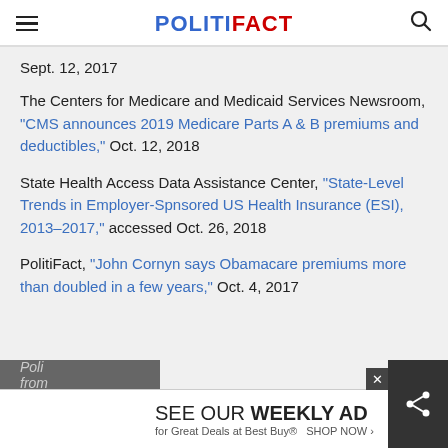POLITIFACT
Sept. 12, 2017
The Centers for Medicare and Medicaid Services Newsroom, "CMS announces 2019 Medicare Parts A & B premiums and deductibles," Oct. 12, 2018
State Health Access Data Assistance Center, "State-Level Trends in Employer-Spnsored US Health Insurance (ESI), 2013-2017," accessed Oct. 26, 2018
PolitiFact, "John Cornyn says Obamacare premiums more than doubled in a few years," Oct. 4, 2017
Poli... from...